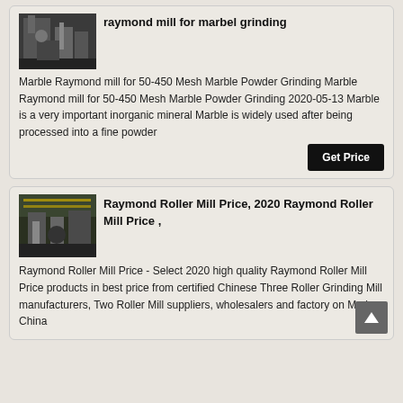raymond mill for marbel grinding
[Figure (photo): Black and white photo of industrial raymond mill equipment]
Marble Raymond mill for 50-450 Mesh Marble Powder Grinding Marble Raymond mill for 50-450 Mesh Marble Powder Grinding 2020-05-13 Marble is a very important inorganic mineral Marble is widely used after being processed into a fine powder
Get Price
Raymond Roller Mill Price, 2020 Raymond Roller Mill Price ,
[Figure (photo): Photo of industrial roller mill facility with yellow equipment]
Raymond Roller Mill Price - Select 2020 high quality Raymond Roller Mill Price products in best price from certified Chinese Three Roller Grinding Mill manufacturers, Two Roller Mill suppliers, wholesalers and factory on Ma in-China